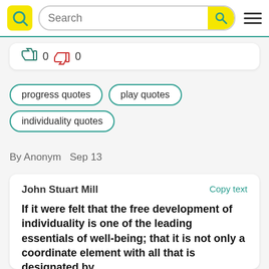[Figure (screenshot): Website header with yellow logo (Q icon), search bar with magnifying glass button, and hamburger menu icon]
👍 0 👎 0
progress quotes
play quotes
individuality quotes
By Anonym  Sep 13
John Stuart Mill
Copy text
If it were felt that the free development of individuality is one of the leading essentials of well-being; that it is not only a coordinate element with all that is designated by the term civilization, instruction,